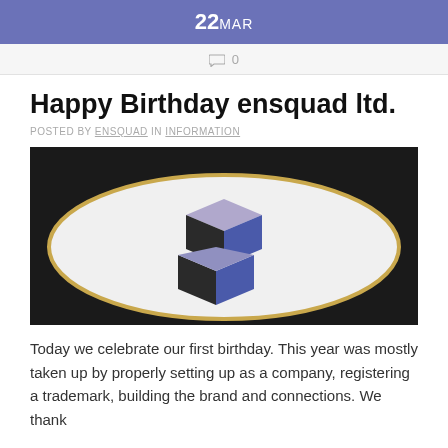22 MAR
0
Happy Birthday ensquad ltd.
POSTED BY ENSQUAD IN INFORMATION
[Figure (photo): Photo of a birthday cake with a 3D logo made of colored geometric tiles (purple, blue, black rhombus shapes) arranged in a cube-like pattern on a white cake surface with gold edge, set against a dark background.]
Today we celebrate our first birthday. This year was mostly taken up by properly setting up as a company, registering a trademark, building the brand and connections. We thank